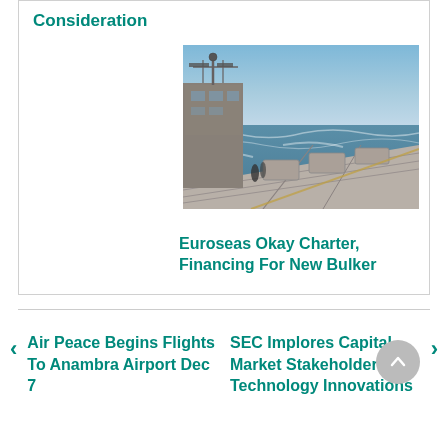Consideration
[Figure (photo): Aerial deck view of a bulk carrier ship at sea, showing the bow and deck equipment with ocean waves in the background.]
Euroseas Okay Charter, Financing For New Bulker
Air Peace Begins Flights To Anambra Airport Dec 7
SEC Implores Capital Market Stakeholders On Technology Innovations